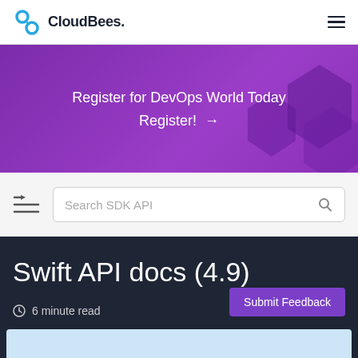CloudBees.
[Figure (illustration): Purple promotional banner with text: Register for DevOps World Today Register! → with decorative hexagon shapes on the right side]
Search SDK API
Swift API docs (4.9)
6 minute read
Submit Feedback